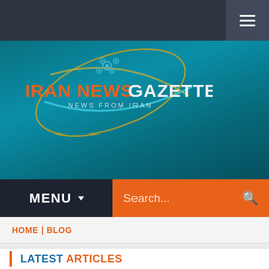[Figure (logo): Iran News Gazette logo with orange text 'IRAN NEWS GAZETTE', subtitle 'NEWS FROM IRAN', decorative swoosh and atomic-style icon in teal/gold colors on dark teal background]
MENU  Search...
HOME | BLOG
LATEST ARTICLES
Syrian Army Liberates more Key Regions of Aleppo,